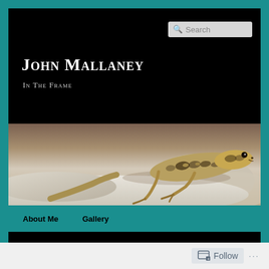John Mallaney
In The Frame
[Figure (photo): Close-up photograph of a small lizard (likely a wall lizard) with patterned scales, resting on white rocks, with a blurred brown background]
About Me
Gallery
TAG ARCHIVES: RED SQUIRREL
Follow